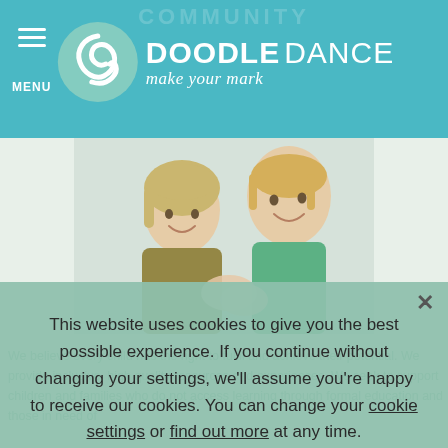MENU | DOODLE DANCE make your mark
[Figure (photo): A woman and a young child smiling together, looking at something in the child's hands. Woman wears an olive/khaki top, child wears a green t-shirt. Light background.]
We believe every child has the right to fulfil and achieve their potential. We provide inclusive, high quality resources and experiences...We seek to support children and families who do not access learning through formal education and those in need of
This website uses cookies to give you the best possible experience. If you continue without changing your settings, we'll assume you're happy to receive our cookies. You can change your cookie settings or find out more at any time.